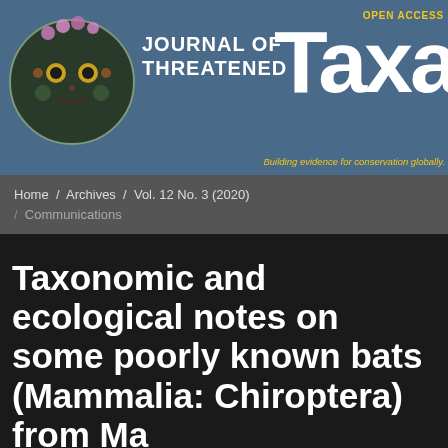OPEN ACCESS
JOURNAL OF THREATENED TAXA
Building evidence for conservation globally.
Home / Archives / Vol. 12 No. 3 (2020) / Communications
Taxonomic and ecological notes on some poorly known bats (Mammalia: Chiroptera) from M...